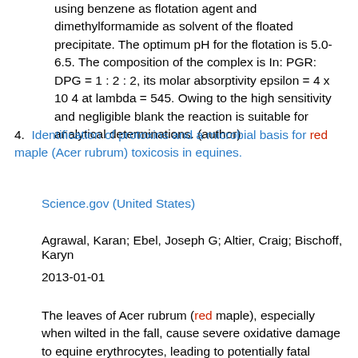using benzene as flotation agent and dimethylformamide as solvent of the floated precipitate. The optimum pH for the flotation is 5.0-6.5. The composition of the complex is In: PGR: DPG = 1 : 2 : 2, its molar absorptivity epsilon = 4 x 10 4 at lambda = 545. Owing to the high sensitivity and negligible blank the reaction is suitable for analytical determinations. (author)
4. Identification of protoxins and a microbial basis for red maple (Acer rubrum) toxicosis in equines.
Science.gov (United States)
Agrawal, Karan; Ebel, Joseph G; Altier, Craig; Bischoff, Karyn
2013-01-01
The leaves of Acer rubrum (red maple), especially when wilted in the fall, cause severe oxidative damage to equine erythrocytes, leading to potentially fatal methemoglobinemia and hemolytic anemia. Gallic acid and tannins from A. rubrum leaves have been implicated as the toxic compounds responsible for red maple toxicosis, but the mechanism of action and toxic principle(s) have not been elucidated to date. In order to investigate further how red maple toxicosis occurs,